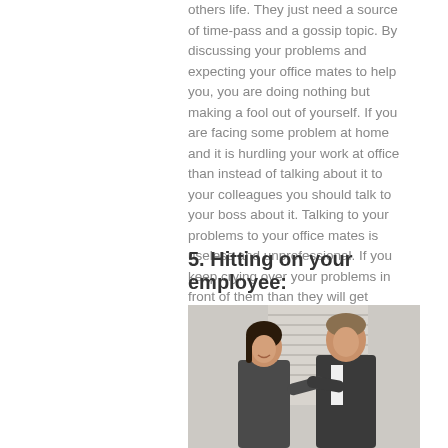others life. They just need a source of time-pass and a gossip topic. By discussing your problems and expecting your office mates to help you, you are doing nothing but making a fool out of yourself. If you are facing some problem at home and it is hurdling your work at office than instead of talking about it to your colleagues you should talk to your boss about it. Talking to your problems to your office mates is useless and unprofessional. If you keep crying over your problems in front of them than they will get irritated with you and they can even change their views about you.
5. Hitting on your employee:
[Figure (photo): Two office workers, a woman and a man in business attire, facing each other and appearing to interact closely in an office setting with window blinds in the background.]